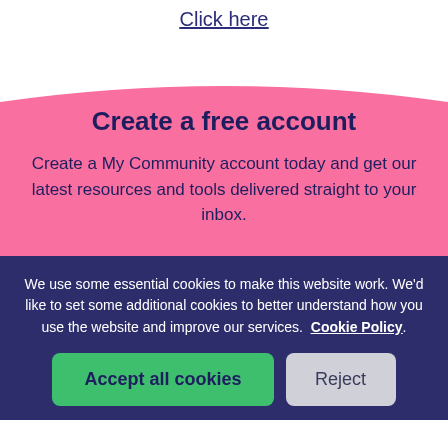Click here
Create a free account
Create a My Community account today and get our latest resources and tools delivered straight to your inbox.
We use some essential cookies to make this website work. We'd like to set some additional cookies to better understand how you use the website and improve our services. Cookie Policy.
Accept all cookies
Reject